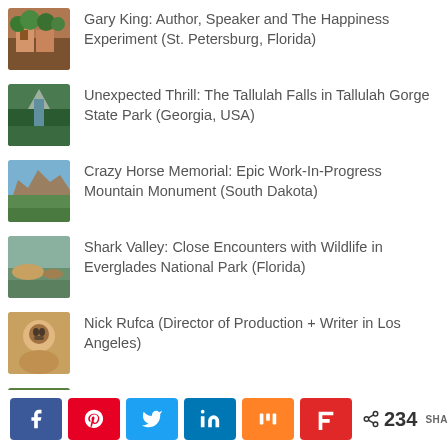Gary King: Author, Speaker and The Happiness Experiment (St. Petersburg, Florida)
Unexpected Thrill: The Tallulah Falls in Tallulah Gorge State Park (Georgia, USA)
Crazy Horse Memorial: Epic Work-In-Progress Mountain Monument (South Dakota)
Shark Valley: Close Encounters with Wildlife in Everglades National Park (Florida)
Nick Rufca (Director of Production + Writer in Los Angeles)
Let's Do It Together: Let's Make the World a Happier Place
< 234 SHARES